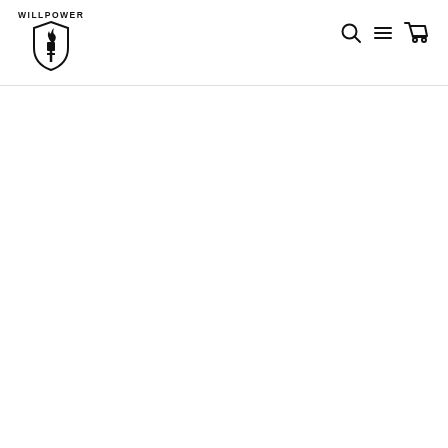WILLPOWER logo with navigation icons: search, menu, cart
[Figure (logo): WILLPOWER brand logo: shield shape with torch/flame icon and text 'WILLPOWER' arched above, plus search, hamburger menu, and shopping cart icons on the right side of the header]